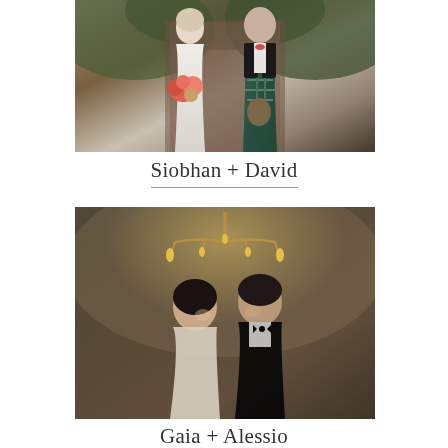[Figure (photo): Wedding photo of bride in white dress holding colorful bouquet and groom in Scottish kilt and tartan jacket, walking outdoors]
Siobhan + David
[Figure (photo): Romantic wedding photo of bride and groom nearly kissing indoors under a chandelier in a decorated room with painted walls]
Gaia + Alessio
Villa Medicea di Lilliano